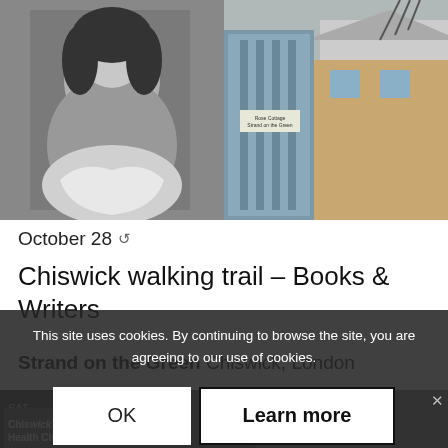[Figure (photo): Two photos side by side: left is a black and white portrait of a woman, right is a photo of a blue gate/door with a house and the number 84 visible.]
October 28 ↺
Chiswick walking trail – Books & Writers
Strand on the Green Chiswick, London
[Figure (photo): Partial photo of a second event, partially obscured by cookie banner overlay. SAT 29 label visible on left.]
This site uses cookies. By continuing to browse the site, you are agreeing to our use of cookies.
OK
Learn more